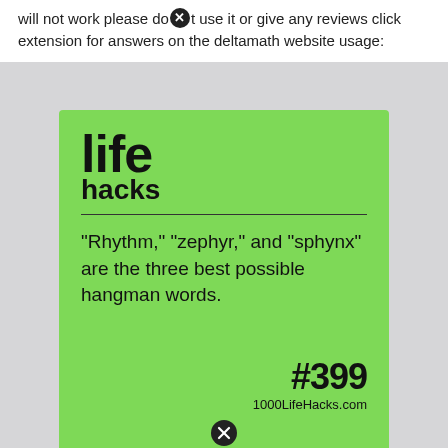will not work please dont use it or give any reviews click extension for answers on the deltamath website usage:
[Figure (infographic): Green life hacks card #399 with text: "Rhythm," "zephyr," and "sphynx" are the three best possible hangman words. — 1000LifeHacks.com]
#399
1000LifeHacks.com